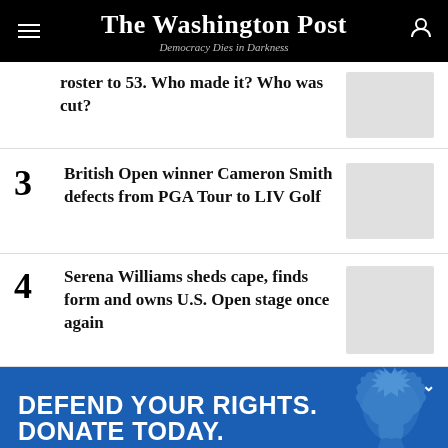The Washington Post
Democracy Dies in Darkness
roster to 53. Who made it? Who was cut?
3 British Open winner Cameron Smith defects from PGA Tour to LIV Golf
4 Serena Williams sheds cape, finds form and owns U.S. Open stage once again
[Figure (infographic): ACLU advertisement banner: DEFEND YOUR RIGHTS. DONATE TODAY. MATCH MY GIFT button, ACLU logo, Statue of Liberty image]